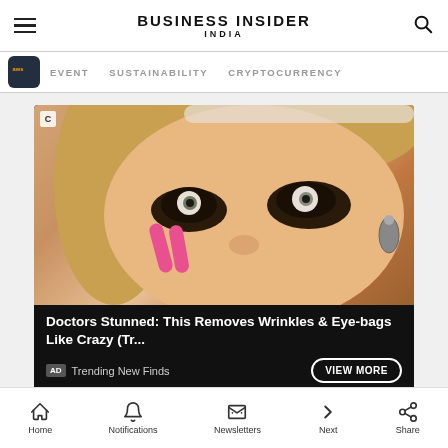BUSINESS INSIDER INDIA
EVENT  SUSTAINABILITY  CRYPTOCURRENCY
[Figure (screenshot): Advertisement showing a woman with dark circles/eye treatment, text overlay: 'Doctors Stunned: This Removes Wrinkles & Eye-bags Like Crazy (Tr...' with AD badge, 'Trending New Finds' source, and 'VIEW MORE' button]
Home  Notifications  Newsletters  Next  Share